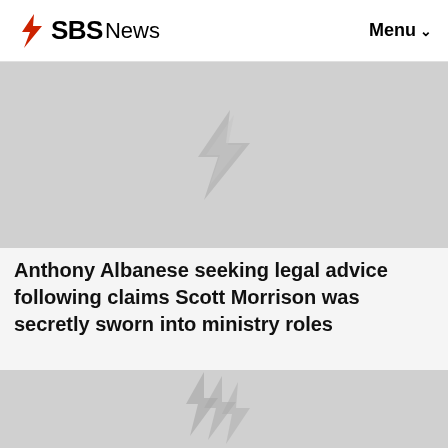SBS News | Menu
[Figure (photo): Gray placeholder image with faint SBS watermark logo in center]
Anthony Albanese seeking legal advice following claims Scott Morrison was secretly sworn into ministry roles
[Figure (photo): Gray placeholder image with faint SBS watermark logo in center]